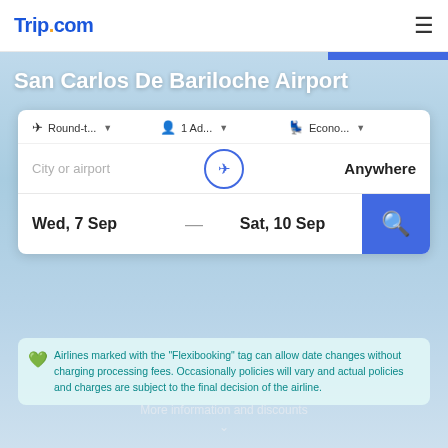Trip.com
San Carlos De Bariloche Airport
✈ Round-t... ▾  👤 1 Ad... ▾  🪑 Econo... ▾
City or airport  →  Anywhere
Wed, 7 Sep — Sat, 10 Sep
Airlines marked with the "Flexibooking" tag can allow date changes without charging processing fees. Occasionally policies will vary and actual policies and charges are subject to the final decision of the airline.
More information and discounts